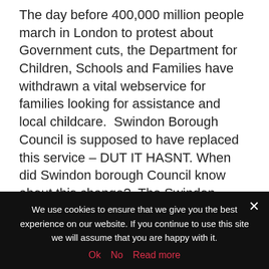The day before 400,000 million people march in London to protest about Government cuts, the Department for Children, Schools and Families have withdrawn a vital webservice for families looking for assistance and local childcare.  Swindon Borough Council is supposed to have replaced this service – DUT IT HASNT. When did Swindon borough Council know about this change?  The Swindon Family Information Service just passes people looking for childminders back to the national service!  This is a message fro the  Swindon Sure Start...
[Figure (other): Read More button with external link icon, pink/red background]
We use cookies to ensure that we give you the best experience on our website. If you continue to use this site we will assume that you are happy with it.
Ok   No   Read more